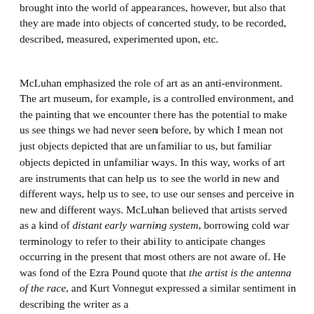brought into the world of appearances, however, but also that they are made into objects of concerted study, to be recorded, described, measured, experimented upon, etc.
McLuhan emphasized the role of art as an anti-environment. The art museum, for example, is a controlled environment, and the painting that we encounter there has the potential to make us see things we had never seen before, by which I mean not just objects depicted that are unfamiliar to us, but familiar objects depicted in unfamiliar ways. In this way, works of art are instruments that can help us to see the world in new and different ways, help us to see, to use our senses and perceive in new and different ways. McLuhan believed that artists served as a kind of distant early warning system, borrowing cold war terminology to refer to their ability to anticipate changes occurring in the present that most others are not aware of. He was fond of the Ezra Pound quote that the artist is the antenna of the race, and Kurt Vonnegut expressed a similar sentiment in describing the writer as a